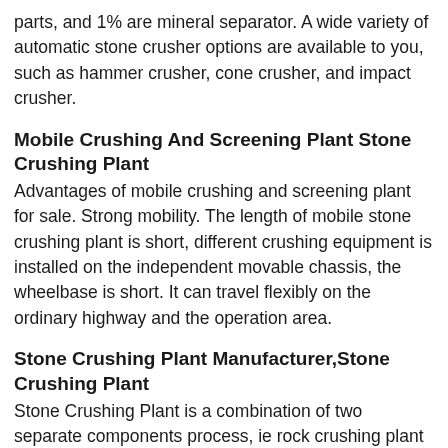parts, and 1% are mineral separator. A wide variety of automatic stone crusher options are available to you, such as hammer crusher, cone crusher, and impact crusher.
Mobile Crushing And Screening Plant Stone Crushing Plant
Advantages of mobile crushing and screening plant for sale. Strong mobility. The length of mobile stone crushing plant is short, different crushing equipment is installed on the independent movable chassis, the wheelbase is short. It can travel flexibly on the ordinary highway and the operation area.
Stone Crushing Plant Manufacturer,Stone Crushing Plant
Stone Crushing Plant is a combination of two separate components process, ie rock crushing plant and sand making production line.We are the renowned and trusted manufacturer and supplier of all types of construction